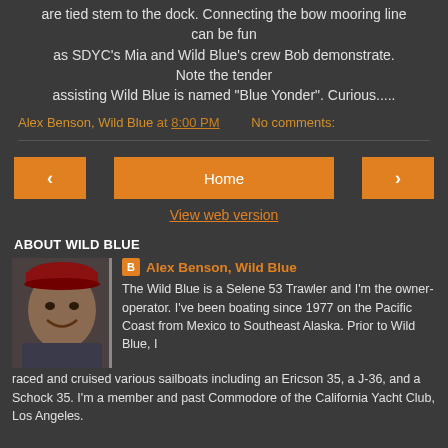are tied stem to the dock. Connecting the bow mooring line can be fun as SDYC's Mia and Wild Blue's crew Bob demonstrate. Note the tender assisting Wild Blue is named "Blue Yonder". Curious.....
Alex Benson, Wild Blue at 8:00 PM   No comments:
< Home >
View web version
ABOUT WILD BLUE
[Figure (photo): Profile photo of Alex Benson, a man wearing a red cap, smiling]
Alex Benson, Wild Blue
The Wild Blue is a Selene 53 Trawler and I'm the owner-operator. I've been boating since 1977 on the Pacific Coast from Mexico to Southeast Alaska. Prior to Wild Blue, I raced and cruised various sailboats including an Ericson 35, a J-36, and a Schock 35. I'm a member and past Commodore of the California Yacht Club, Los Angeles.